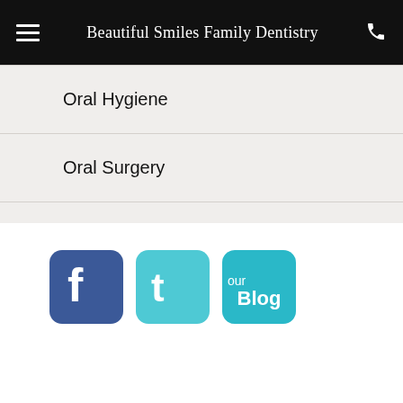Beautiful Smiles Family Dentistry
Oral Hygiene
Oral Surgery
Orthodontics
Pediatric Dentistry
Periodontal Therapy
Technology
[Figure (screenshot): Footer with Facebook, Twitter, and Blog social media icon buttons]